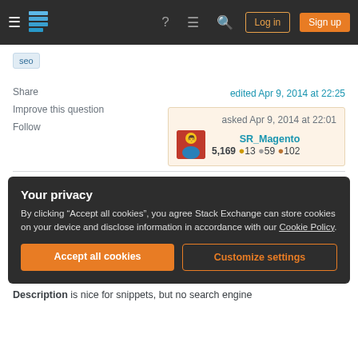Stack Exchange navigation bar with Log in and Sign up buttons
seo
Share
Improve this question
Follow
edited Apr 9, 2014 at 22:25
asked Apr 9, 2014 at 22:01
SR_Magento
5,169  13  59  102
Your privacy
By clicking "Accept all cookies", you agree Stack Exchange can store cookies on your device and disclose information in accordance with our Cookie Policy.
Accept all cookies
Customize settings
Description is nice for snippets, but no search engine